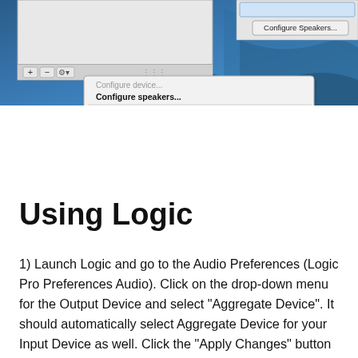[Figure (screenshot): macOS Audio MIDI Setup or Sound preferences screenshot showing a gear/settings dropdown menu with options: 'Configure device...', 'Configure speakers...', 'Use this device for sound input', 'Use this device for sound output', 'Play alerts and sound effects through this device'. A 'Configure Speakers...' button is visible in the top right. The background shows macOS desktop with blue wave wallpaper.]
Using Logic
1) Launch Logic and go to the Audio Preferences (Logic Pro Preferences Audio). Click on the drop-down menu for the Output Device and select "Aggregate Device". It should automatically select Aggregate Device for your Input Device as well. Click the "Apply Changes" button at the bottom of the window.